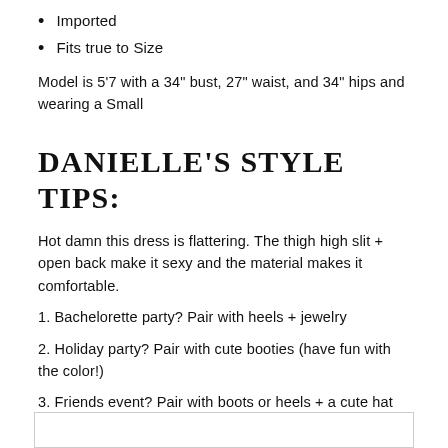Imported
Fits true to Size
Model is 5'7 with a 34" bust, 27" waist, and 34" hips and wearing a Small
DANIELLE'S STYLE TIPS:
Hot damn this dress is flattering. The thigh high slit + open back make it sexy and the material makes it comfortable.
1. Bachelorette party? Pair with heels + jewelry
2. Holiday party? Pair with cute booties (have fun with the color!)
3. Friends event? Pair with boots or heels + a cute hat